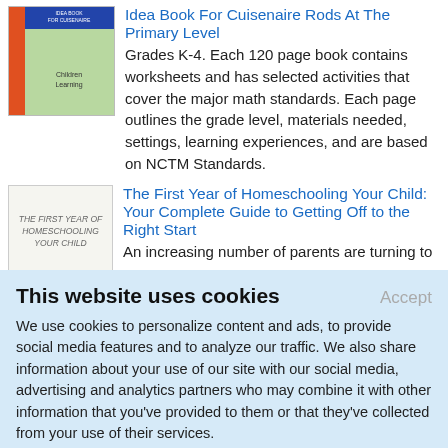[Figure (illustration): Book cover: Idea Book For Cuisenaire Rods At The Primary Level, showing children]
Idea Book For Cuisenaire Rods At The Primary Level
Grades K-4. Each 120 page book contains worksheets and has selected activities that cover the major math standards. Each page outlines the grade level, materials needed, settings, learning experiences, and are based on NCTM Standards.
[Figure (illustration): Book cover: The First Year of Homeschooling Your Child]
The First Year of Homeschooling Your Child: Your Complete Guide to Getting Off to the Right Start
An increasing number of parents are turning to
This website uses cookies
We use cookies to personalize content and ads, to provide social media features and to analyze our traffic. We also share information about your use of our site with our social media, advertising and analytics partners who may combine it with other information that you've provided to them or that they've collected from your use of their services.
Learn More.
[Figure (illustration): Book cover: The Work-at-Home Sourcebook]
The Work-at-Home Sourcebook